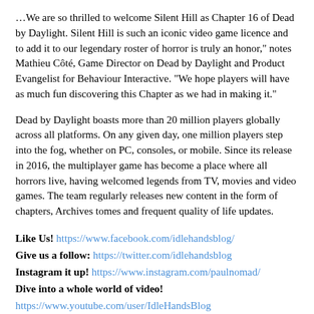We are so thrilled to welcome Silent Hill as Chapter 16 of Dead by Daylight. Silent Hill is such an iconic video game licence and to add it to our legendary roster of horror is truly an honor," notes Mathieu Côté, Game Director on Dead by Daylight and Product Evangelist for Behaviour Interactive. "We hope players will have as much fun discovering this Chapter as we had in making it."
Dead by Daylight boasts more than 20 million players globally across all platforms. On any given day, one million players step into the fog, whether on PC, consoles, or mobile. Since its release in 2016, the multiplayer game has become a place where all horrors live, having welcomed legends from TV, movies and video games. The team regularly releases new content in the form of chapters, Archives tomes and frequent quality of life updates.
Like Us! https://www.facebook.com/idlehandsblog/
Give us a follow: https://twitter.com/idlehandsblog
Instagram it up! https://www.instagram.com/paulnomad/
Dive into a whole world of video! https://www.youtube.com/user/IdleHandsBlog